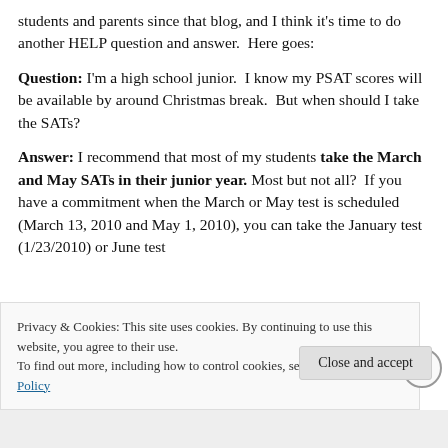students and parents since that blog, and I think it's time to do another HELP question and answer.  Here goes:
Question: I'm a high school junior.  I know my PSAT scores will be available by around Christmas break.  But when should I take the SATs?
Answer: I recommend that most of my students take the March and May SATs in their junior year. Most but not all?  If you have a commitment when the March or May test is scheduled (March 13, 2010 and May 1, 2010), you can take the January test (1/23/2010) or June test
Privacy & Cookies: This site uses cookies. By continuing to use this website, you agree to their use.
To find out more, including how to control cookies, see here: Cookie Policy